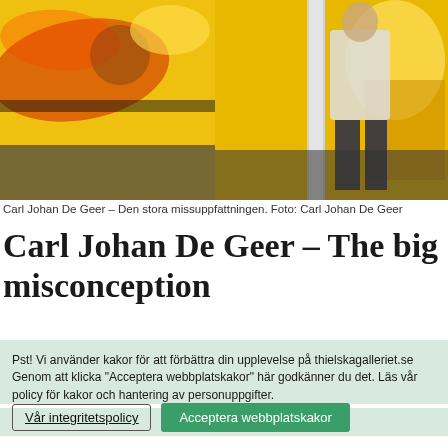[Figure (photo): Photo of Carl Johan De Geer standing in front of a large yellow artwork with red and black graphic elements — Den stora missuppfattningen]
Carl Johan De Geer – Den stora missuppfattningen. Foto: Carl Johan De Geer
Carl Johan De Geer – The big misconception
Pst! Vi använder kakor för att förbättra din upplevelse på thielskagalleriet.se Genom att klicka "Acceptera webbplatskakor" här godkänner du det. Läs vår policy för kakor och hantering av personuppgifter.
Vår integritetspolicy
Acceptera webbplatskakor